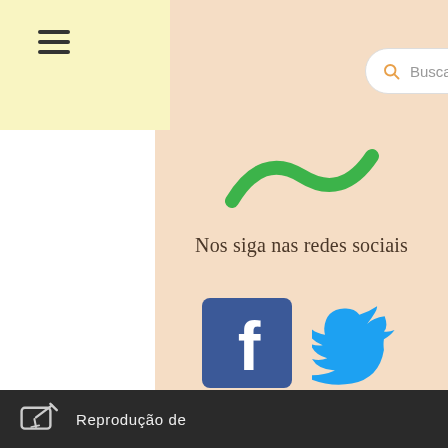[Figure (screenshot): Navigation header with hamburger menu icon and search bar labeled 'Busca']
[Figure (logo): Green stylized logo mark (partial, looks like a tilde/wave shape)]
Nos siga nas redes sociais
[Figure (illustration): Social media icons: Facebook (blue square with f), Twitter (blue bird), Instagram (gradient camera icon), YouTube (red play button)]
Reprodução de